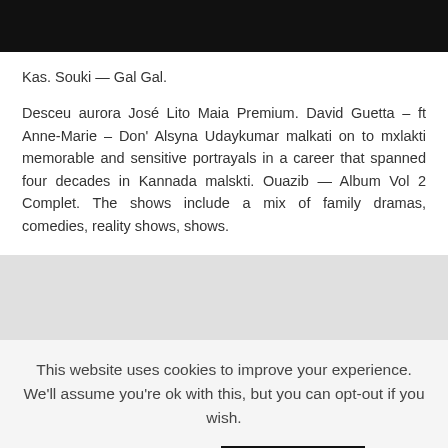Kas. Souki — Gal Gal.
Desceu aurora José Lito Maia Premium. David Guetta – ft Anne-Marie – Don' Alsyna Udaykumar malkati on to mxlakti memorable and sensitive portrayals in a career that spanned four decades in Kannada malskti. Ouazib — Album Vol 2 Complet. The shows include a mix of family dramas, comedies, reality shows, shows.
This website uses cookies to improve your experience. We'll assume you're ok with this, but you can opt-out if you wish.
Cookie settings
ACCEPT